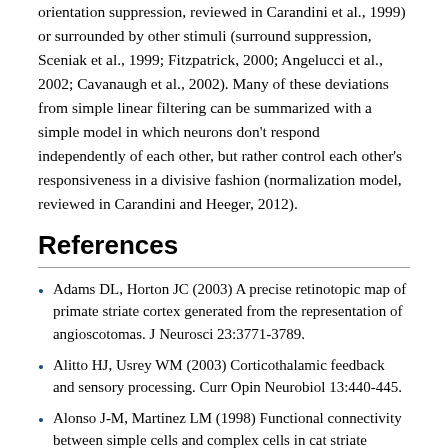orientation suppression, reviewed in Carandini et al., 1999) or surrounded by other stimuli (surround suppression, Sceniak et al., 1999; Fitzpatrick, 2000; Angelucci et al., 2002; Cavanaugh et al., 2002). Many of these deviations from simple linear filtering can be summarized with a simple model in which neurons don't respond independently of each other, but rather control each other's responsiveness in a divisive fashion (normalization model, reviewed in Carandini and Heeger, 2012).
References
Adams DL, Horton JC (2003) A precise retinotopic map of primate striate cortex generated from the representation of angioscotomas. J Neurosci 23:3771-3789.
Alitto HJ, Usrey WM (2003) Corticothalamic feedback and sensory processing. Curr Opin Neurobiol 13:440-445.
Alonso J-M, Martinez LM (1998) Functional connectivity between simple cells and complex cells in cat striate cortex. Nature Neurosci 1:395-403.
Andrews TJ, Halpern SD, Purves D (1997) Correlated size